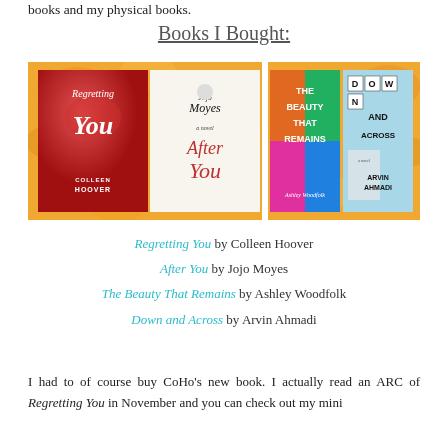books and my physical books.
Books I Bought:
[Figure (photo): Photo of four book covers laid out side by side: Regretting You by Colleen Hoover (red cover), After You by Jojo Moyes (white cover with red script), The Beauty That Remains by Ashley Woodfolk (colorful geometric cover), Down and Across by Arvin Ahmadi (light blue cover with block letters), all on a floral patterned background.]
Regretting You by Colleen Hoover
After You by Jojo Moyes
The Beauty That Remains by Ashley Woodfolk
Down and Across by Arvin Ahmadi
I had to of course buy CoHo's new book. I actually read an ARC of Regretting You in November and you can check out my mini